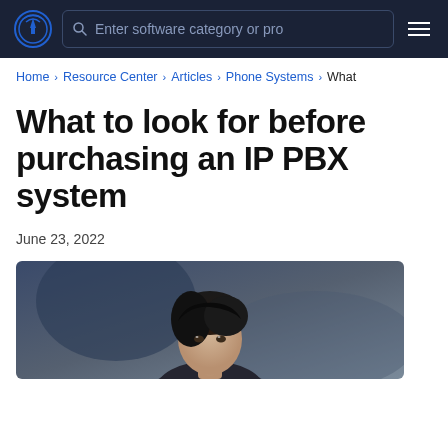Q Enter software category or pro
Home > Resource Center > Articles > Phone Systems > What
What to look for before purchasing an IP PBX system
June 23, 2022
[Figure (photo): Person with dark hair photographed from above/front, dark blurred background, professional article header image]